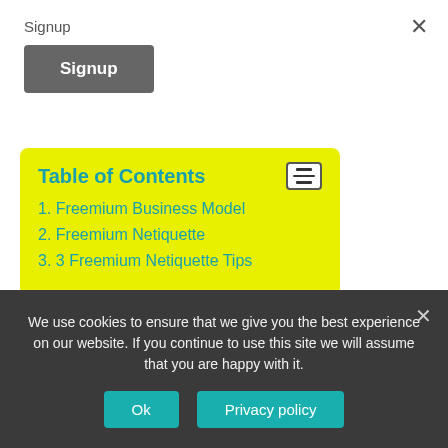Signup
Signup
Table of Contents
1. Freemium Business Model
2. Freemium Netiquette
3. 3 Freemium Netiquette Tips
Freemium network etiquette to get the most out of free mobile apps paying to upgrade as necessary with 3
We use cookies to ensure that we give you the best experience on our website. If you continue to use this site we will assume that you are happy with it.
Ok
Privacy policy